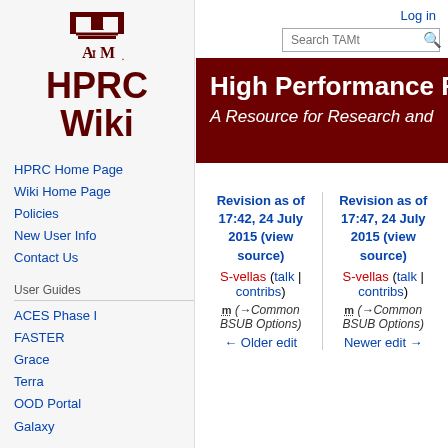[Figure (logo): Texas A&M University ATM logo with HPRC Wiki text in dark red]
HPRC Home Page
Wiki Home Page
Policies
New User Info
Contact Us
User Guides
ACES Phase I
FASTER
Grace
Terra
OOD Portal
Galaxy
Log in
High Performance Re
A Resource for Research and
Revision as of 17:42, 24 July 2015 (view source)
S-vellas (talk | contribs)
m (→Common BSUB Options)
← Older edit
Revision as of 17:47, 24 July 2015 (view source)
S-vellas (talk | contribs)
m (→Common BSUB Options)
Newer edit →